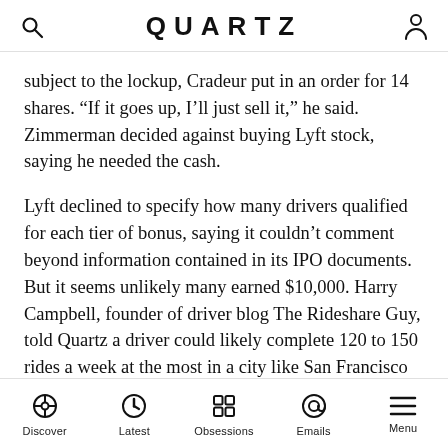QUARTZ
subject to the lockup, Cradeur put in an order for 14 shares. “If it goes up, I’ll just sell it,” he said. Zimmerman decided against buying Lyft stock, saying he needed the cash.
Lyft declined to specify how many drivers qualified for each tier of bonus, saying it couldn’t comment beyond information contained in its IPO documents. But it seems unlikely many earned $10,000. Harry Campbell, founder of driver blog The Rideshare Guy, told Quartz a driver could likely complete 120 to 150 rides a week at the most in a city like San Francisco or Los Angeles. At the high end of that range, it would take more than two and a half years of driving exclusively for Lyft to reach 20,000 rides.
Discover   Latest   Obsessions   Emails   Menu